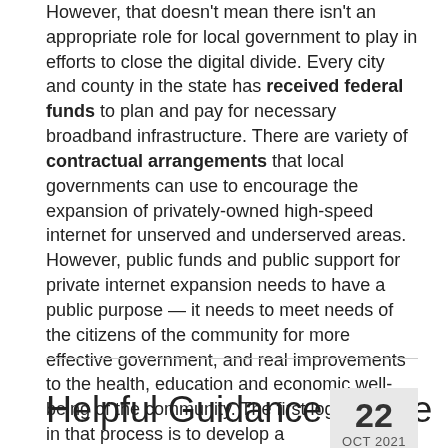However, that doesn't mean there isn't an appropriate role for local government to play in efforts to close the digital divide. Every city and county in the state has received federal funds to plan and pay for necessary broadband infrastructure. There are variety of contractual arrangements that local governments can use to encourage the expansion of privately-owned high-speed internet for unserved and underserved areas. However, public funds and public support for private internet expansion needs to have a public purpose — it needs to meet needs of the citizens of the community for more effective government, and real improvements to the health, education and economic well-being of the community. The first logical step in that process is to develop a comprehensive plan that identifies and meets the needs of the community.
Helpful Guidance on the
22
OCT 2021